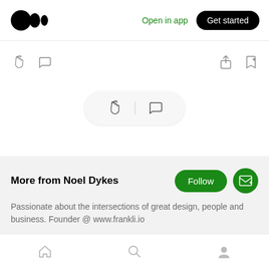[Figure (logo): Medium logo — three stacked circles]
Open in app
Get started
[Figure (infographic): Clap icon and comment icon in top toolbar]
[Figure (infographic): Share icon and bookmark-plus icon in top toolbar]
[Figure (infographic): Floating pill bar with clap icon and comment icon]
More from Noel Dykes
Passionate about the intersections of great design, people and business. Founder @ www.frankli.io
[Figure (infographic): Bottom navigation bar with home, search, and profile icons]